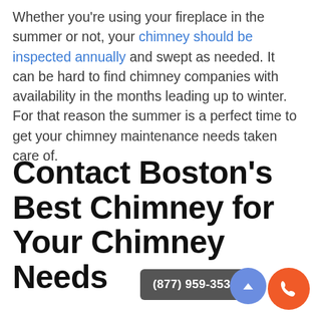Whether you're using your fireplace in the summer or not, your chimney should be inspected annually and swept as needed. It can be hard to find chimney companies with availability in the months leading up to winter. For that reason the summer is a perfect time to get your chimney maintenance needs taken care of.
Contact Boston's Best Chimney for Your Chimney Needs